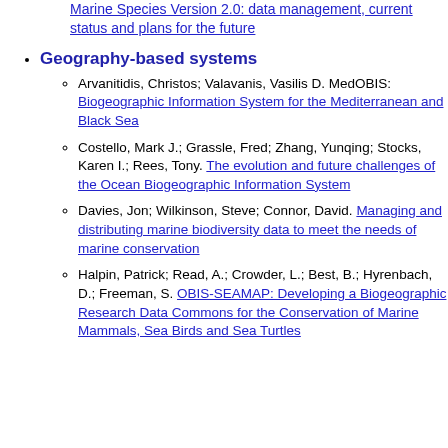Marine Species Version 2.0: data management, current status and plans for the future
Geography-based systems
Arvanitidis, Christos; Valavanis, Vasilis D. MedOBIS: Biogeographic Information System for the Mediterranean and Black Sea
Costello, Mark J.; Grassle, Fred; Zhang, Yunqing; Stocks, Karen I.; Rees, Tony. The evolution and future challenges of the Ocean Biogeographic Information System
Davies, Jon; Wilkinson, Steve; Connor, David. Managing and distributing marine biodiversity data to meet the needs of marine conservation
Halpin, Patrick; Read, A.; Crowder, L.; Best, B.; Hyrenbach, D.; Freeman, S. OBIS-SEAMAP: Developing a Biogeographic Research Data Commons for the Conservation of Marine Mammals, Sea Birds and Sea Turtles